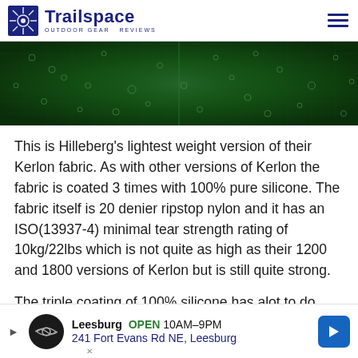Trailspace OUTDOOR GEAR REVIEWS
[Figure (photo): Close-up photo of dark green ripstop nylon fabric with silicone coating showing shiny circular highlights]
This is Hilleberg's lightest weight version of their Kerlon fabric. As with other versions of Kerlon the fabric is coated 3 times with 100% pure silicone. The fabric itself is 20 denier ripstop nylon and it has an ISO(13937-4) minimal tear strength rating of 10kg/22lbs which is not quite as high as their 1200 and 1800 versions of Kerlon but is still quite strong.
The triple coating of 100% silicone has alot to do with the strength
[Figure (other): Leesburg advertisement banner: Leesburg OPEN 10AM-9PM, 241 Fort Evans Rd NE, Leesburg with navigation arrow icon]